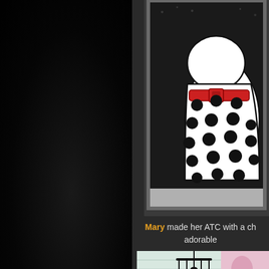[Figure (illustration): Art card (ATC) showing a white polka-dotted dress or figure with black dots and a red buckle/belt, on a dark textured background with crinkled paper border.]
Mary made her ATC with a ch adorable
[Figure (illustration): Partial art card showing a light blue lined background with pink floral/damask pattern on the right and a black chandelier silhouette.]